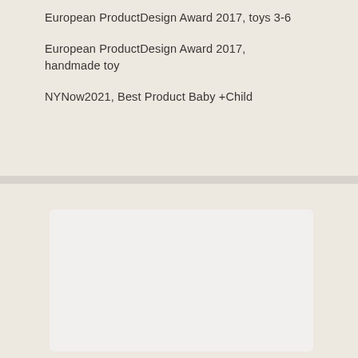European ProductDesign Award 2017, toys 3-6
European ProductDesign Award 2017, handmade toy
NYNow2021, Best Product Baby +Child
[Figure (photo): White/light gray rounded rectangle image placeholder in the bottom section of the page]